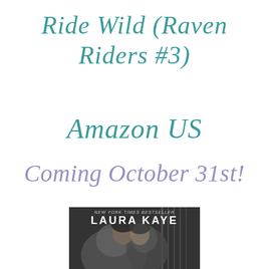Ride Wild (Raven Riders #3)
Amazon US
Coming October 31st!
[Figure (photo): Book cover of Ride Wild by Laura Kaye, a New York Times Bestseller. Black and white image showing a man and woman close together. Large text reads LAURA KAYE with NEW YORK TIMES BESTSELLER above.]